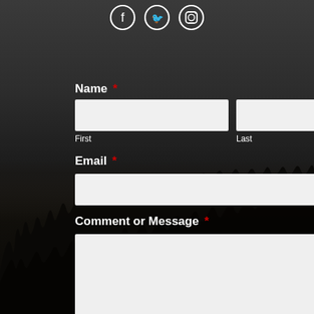[Figure (illustration): Three circular social media icons (Facebook, Twitter, Instagram) with white outlines on dark background, at top center of page]
[Figure (photo): Dark silhouette of grass/vegetation at bottom portion of page, dark night scene background]
Name *
First
Last
Email *
Comment or Message *